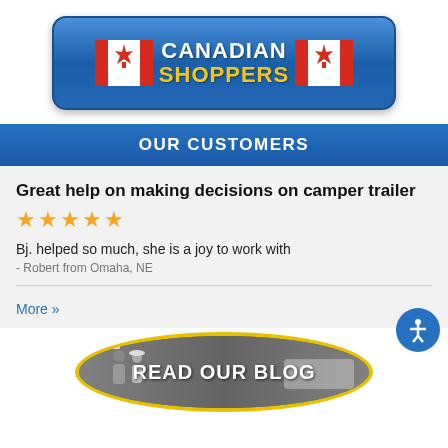[Figure (logo): Canadian Shoppers banner with two Canadian flags and blue rounded rectangle button with text CANADIAN SHOPPERS]
OUR CUSTOMERS
Great help on making decisions on camper trailer
★★★★★ (5 star rating)
Bj. helped so much, she is a joy to work with
- Robert from Omaha, NE
More »
[Figure (photo): READ OUR BLOG oval banner with photo of two people in front of an RV, with yellow oval border and VBTA badge]